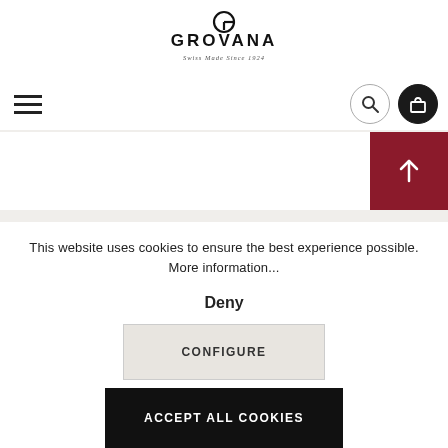[Figure (logo): GROVANA logo with tagline 'Swiss Made Since 1924']
[Figure (screenshot): Navigation bar with hamburger menu on left, search and shopping bag icons on right]
[Figure (screenshot): Red back-to-top arrow button]
This website uses cookies to ensure the best experience possible. More information...
Deny
CONFIGURE
ACCEPT ALL COOKIES